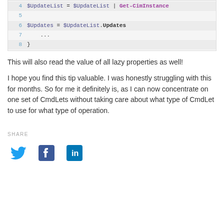[Figure (screenshot): Code block showing PowerShell lines 4-8: line 4 '$UpdateList = $UpdateList | Get-CimInstance', line 5 blank, line 6 '$Updates = $UpdateList.Updates', line 7 '...', line 8 '}']
This will also read the value of all lazy properties as well!
I hope you find this tip valuable. I was honestly struggling with this for months. So for me it definitely is, as I can now concentrate on one set of CmdLets without taking care about what type of CmdLet to use for what type of operation.
SHARE
[Figure (infographic): Social media share icons: Twitter (bird), Facebook (f), LinkedIn (in)]